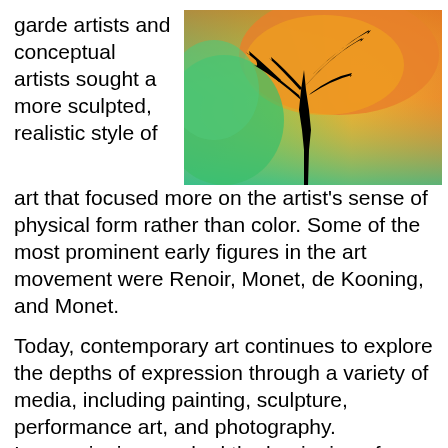garde artists and conceptual artists sought a more sculpted, realistic style of art that focused more on the artist's sense of physical form rather than color. Some of the most prominent early figures in the art movement were Renoir, Monet, de Kooning, and Monet.
[Figure (illustration): Colorful abstract painting of a tree with black silhouette branches against a background of orange, yellow, and teal/green gradient colors.]
Today, contemporary art continues to explore the depths of expression through a variety of media, including painting, sculpture, performance art, and photography. Impressionism marked the beginning of modern art, and many artists who followed after Impressionism are still widely regarded as masters. Examples of Impressionist paintings include The Night Cafe (1926), The Rocks (1927), The Painted Face (1927), and The Seated Man (1927). Art lovers are often drawn to contemporary art for its boldness and beauty. Moreover, contemporary artists emphasize...